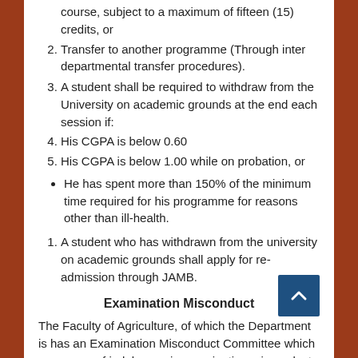course, subject to a maximum of fifteen (15) credits, or
Transfer to another programme (Through inter departmental transfer procedures).
A student shall be required to withdraw from the University on academic grounds at the end each session if:
His CGPA is below 0.60
His CGPA is below 1.00 while on probation, or
He has spent more than 150% of the minimum time required for his programme for reasons other than ill-health.
A student who has withdrawn from the university on academic grounds shall apply for re-admission through JAMB.
Examination Misconduct
The Faculty of Agriculture, of which the Department is has an Examination Misconduct Committee which con cases of indulgence in examination misconduct by students